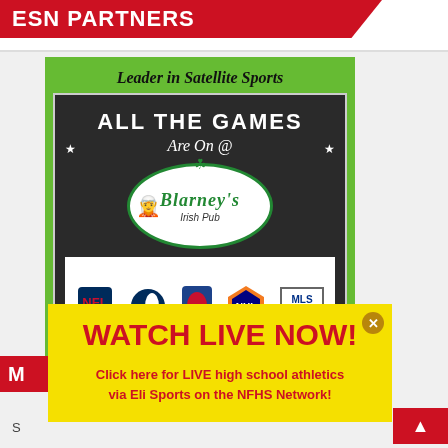ESN PARTNERS
[Figure (advertisement): Blarney's Irish Pub advertisement — Leader in Satellite Sports, All The Games Are On @ Blarney's Irish Pub, with NFL, MLB, NBA, NHL, MLS logos. Families Welcome.]
[Figure (advertisement): Yellow overlay banner: WATCH LIVE NOW! Click here for LIVE high school athletics via Eli Sports on the NFHS Network!]